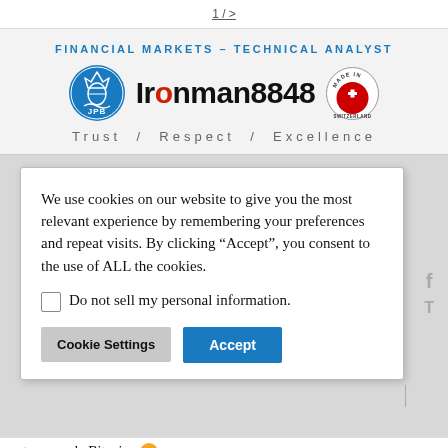Financial Markets – Technical Analyst / Ironman8848 / Trust / Respect / Excellence
[Figure (logo): Ironman8848 brand header with JPB circular logo, Ironman8848 text, and Made in Switzerland badge, tagline Trust / Respect / Excellence]
We use cookies on our website to give you the most relevant experience by remembering your preferences and repeat visits. By clicking "Accept", you consent to the use of ALL the cookies.
Do not sell my personal information.
Cookie Settings   Accept
auteurs sur le Bitcoin